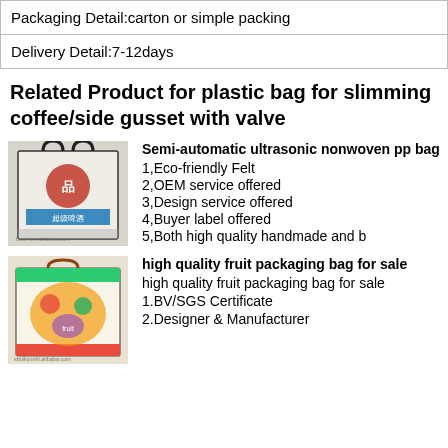| Packaging Detail:carton or simple packing |
| Delivery Detail:7-12days |
Related Product for plastic bag for slimming coffee/side gusset with valve
[Figure (photo): Photo of a white nonwoven shopping bag with Chinese text and logo, watermark lzzzi.en.alibaba.com]
Semi-automatic ultrasonic nonwoven pp bag
1,Eco-friendly Felt
2,OEM service offered
3,Design service offered
4,Buyer label offered
5,Both high quality handmade and b
[Figure (photo): Photo of a colorful fruit-themed gift packaging bag with Christmas/holiday design, watermark shuikyushi.alibaba.com]
high quality fruit packaging bag for sale
high quality fruit packaging bag for sale
1.BV/SGS Certificate
2.Designer & Manufacturer